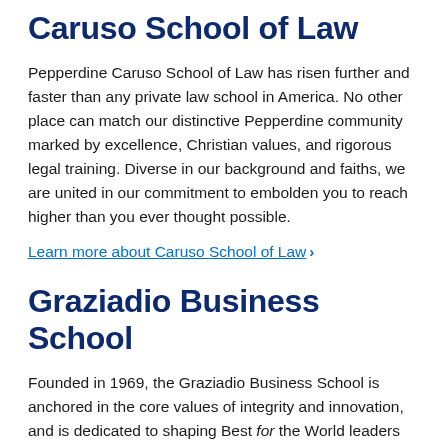Caruso School of Law
Pepperdine Caruso School of Law has risen further and faster than any private law school in America. No other place can match our distinctive Pepperdine community marked by excellence, Christian values, and rigorous legal training. Diverse in our background and faiths, we are united in our commitment to embolden you to reach higher than you ever thought possible.
Learn more about Caruso School of Law ›
Graziadio Business School
Founded in 1969, the Graziadio Business School is anchored in the core values of integrity and innovation, and is dedicated to shaping Best for the World leaders that drive meaningful, positive change in their global organizations and communities.